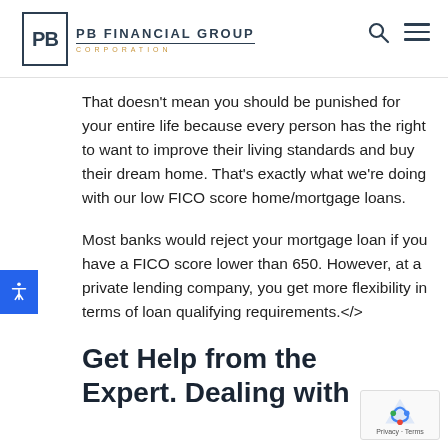PB Financial Group Corporation
That doesn't mean you should be punished for your entire life because every person has the right to want to improve their living standards and buy their dream home. That's exactly what we're doing with our low FICO score home/mortgage loans.
Most banks would reject your mortgage loan if you have a FICO score lower than 650. However, at a private lending company, you get more flexibility in terms of loan qualifying requirements.</>
Get Help from the Expert. Dealing with